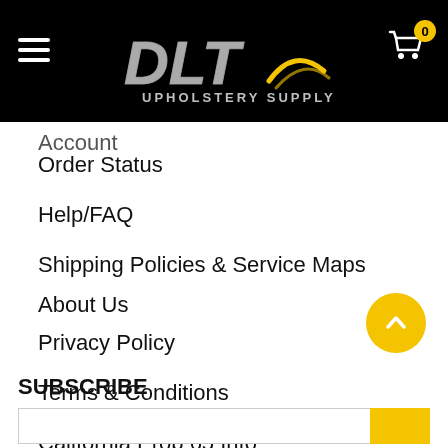[Figure (logo): DLT Upholstery Supply logo on black background with hamburger menu and cart icon showing 0 items]
Account
Order Status
Help/FAQ
Shipping Policies & Service Maps
About Us
Privacy Policy
Terms & Conditions
California Prop 65 Info
SUBSCRIBE